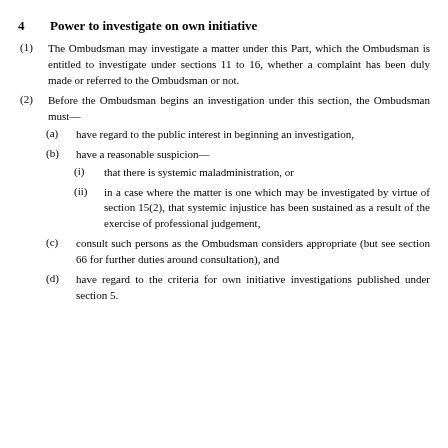4    Power to investigate on own initiative
(1) The Ombudsman may investigate a matter under this Part, which the Ombudsman is entitled to investigate under sections 11 to 16, whether a complaint has been duly made or referred to the Ombudsman or not.
(2) Before the Ombudsman begins an investigation under this section, the Ombudsman must—
(a) have regard to the public interest in beginning an investigation,
(b) have a reasonable suspicion—
(i) that there is systemic maladministration, or
(ii) in a case where the matter is one which may be investigated by virtue of section 15(2), that systemic injustice has been sustained as a result of the exercise of professional judgement,
(c) consult such persons as the Ombudsman considers appropriate (but see section 66 for further duties around consultation), and
(d) have regard to the criteria for own initiative investigations published under section 5.